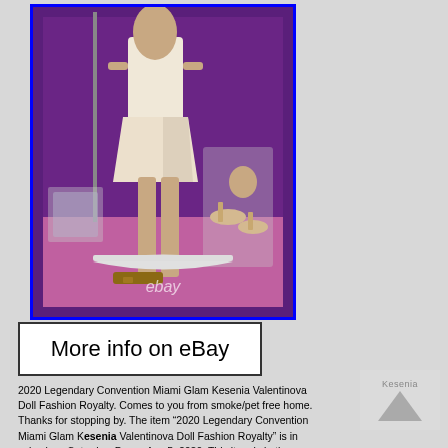[Figure (photo): A fashion doll (Kesenia Valentinova) in a purple-lined box, wearing a white/cream outfit. Accessories including shoes and a bag are visible in clear packaging beside the doll. An eBay watermark is on the photo.]
More info on eBay
2020 Legendary Convention Miami Glam Kesenia Valentinova Doll Fashion Royalty. Comes to you from smoke/pet free home. Thanks for stopping by. The item “2020 Legendary Convention Miami Glam Kesenia Valentinova Doll Fashion Royalty” is in sale since Saturday, December 5, 2020. This item is in the category "Dolls & Bears\Dolls\By Brand, Company, Character\Integrity, Fashion Royalty". The seller is